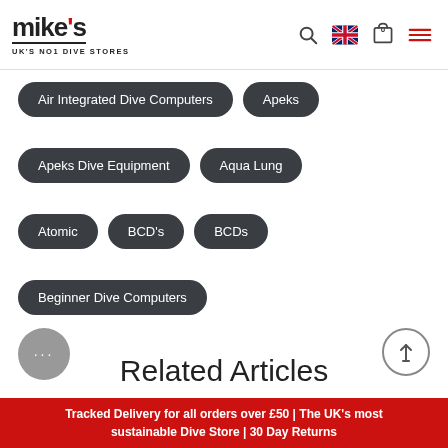[Figure (logo): Mike's UK's No1 Dive Stores logo with navigation icons (search, flag, cart, menu)]
Air Integrated Dive Computers
Apeks
Apeks Dive Equipment
Aqua Lung
Atomic
BCD's
BCDs
Beginner Dive Computers
Related Articles
Tracked Delivery for all orders over £50 | The UK's most sustainable Dive Store | 30 Day Returns